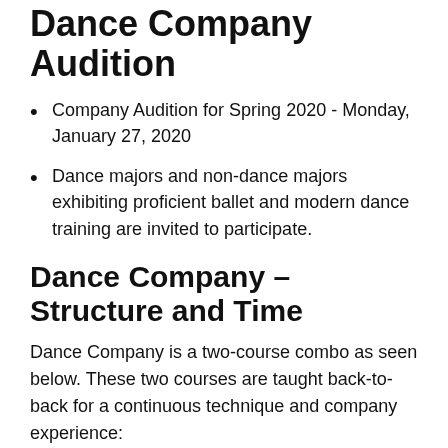Dance Company Audition
Company Audition for Spring 2020 - Monday, January 27, 2020
Dance majors and non-dance majors exhibiting proficient ballet and modern dance training are invited to participate.
Dance Company – Structure and Time
Dance Company is a two-course combo as seen below. These two courses are taught back-to-back for a continuous technique and company experience:
Mon-Thur 9:00-10:50am DANC 428.001 – Modern III